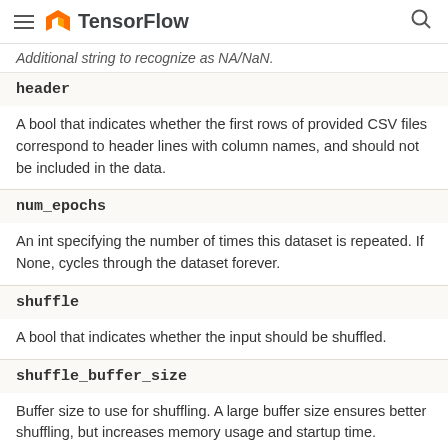TensorFlow
Additional string to recognize as NA/NaN.
header
A bool that indicates whether the first rows of provided CSV files correspond to header lines with column names, and should not be included in the data.
num_epochs
An int specifying the number of times this dataset is repeated. If None, cycles through the dataset forever.
shuffle
A bool that indicates whether the input should be shuffled.
shuffle_buffer_size
Buffer size to use for shuffling. A large buffer size ensures better shuffling, but increases memory usage and startup time.
shuffle_seed